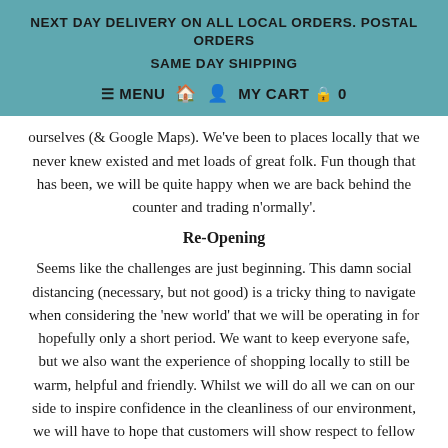NEXT DAY DELIVERY ON ALL LOCAL ORDERS. POSTAL ORDERS SAME DAY SHIPPING
≡ MENU  🏠  👤  MY CART  🔒 0
ourselves (& Google Maps). We've been to places locally that we never knew existed and met loads of great folk. Fun though that has been, we will be quite happy when we are back behind the counter and trading n'ormally'.
Re-Opening
Seems like the challenges are just beginning. This damn social distancing (necessary, but not good) is a tricky thing to navigate when considering the 'new world' that we will be operating in for hopefully only a short period. We want to keep everyone safe, but we also want the experience of shopping locally to still be warm, helpful and friendly. Whilst we will do all we can on our side to inspire confidence in the cleanliness of our environment, we will have to hope that customers will show respect to fellow shoppers and maintain a reasonable distance from each other.